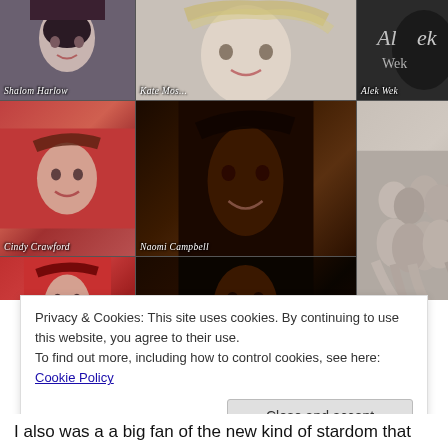[Figure (photo): Collage of fashion model photos arranged in a 3x3 grid. Top row: Shalom Harlow (portrait), Kate Moss (black and white), Alek Wek (black and white book cover), Cindy Crawford (red background). Middle row: Naomi Campbell (dark portrait), large center black-and-white group photo of multiple models posed together, Christy Turlington (red background). Bottom row: Brandi (pearl necklace, black outfit), center continues, Yasmeen Ghauri (golden tones).]
Privacy & Cookies: This site uses cookies. By continuing to use this website, you agree to their use.
To find out more, including how to control cookies, see here: Cookie Policy
Close and accept
I also was a a big fan of the new kind of stardom that